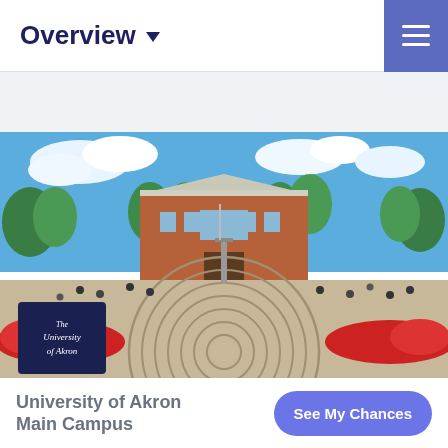Overview
[Figure (photo): University of Akron Main Campus outdoor photo showing a red-brick building with a labyrinth stone path in the foreground, red flowers, green trees, blue sky, and students gathered on steps.]
University of Akron Main Campus
See My Chances